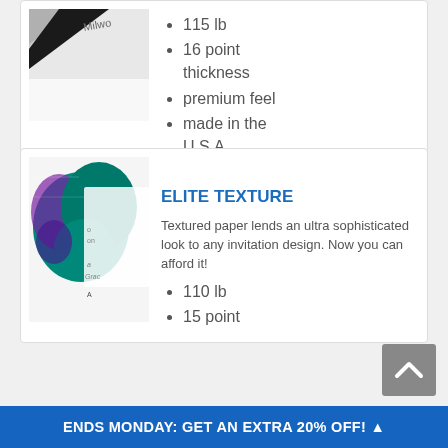[Figure (photo): Close-up of a white card with diagonal black/white design and partial text 'Milwo']
115 lb
16 point thickness
premium feel
made in the U.S.A.
[Figure (photo): Close-up photo of textured paper with teal/purple floral design, showing invitation card with 'Grace' text]
ELITE TEXTURE
Textured paper lends an ultra sophisticated look to any invitation design. Now you can afford it!
110 lb
15 point
ENDS MONDAY: GET AN EXTRA 20% OFF! ▲